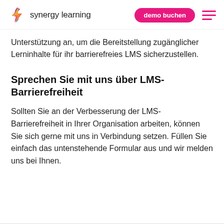synergy learning | demo buchen
Unterstützung an, um die Bereitstellung zugänglicher Lerninhalte für ihr barrierefreies LMS sicherzustellen.
Sprechen Sie mit uns über LMS-Barrierefreiheit
Sollten Sie an der Verbesserung der LMS-Barrierefreiheit in Ihrer Organisation arbeiten, können Sie sich gerne mit uns in Verbindung setzen. Füllen Sie einfach das untenstehende Formular aus und wir melden uns bei Ihnen.